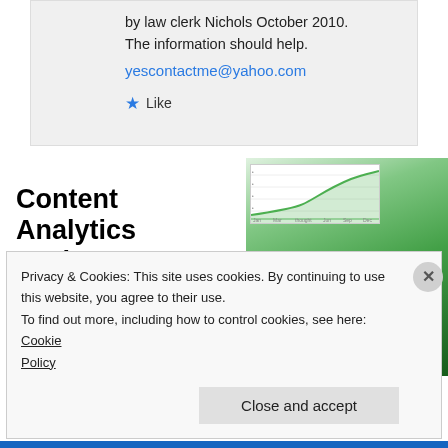by law clerk Nichols October 2010. The information should help.
yescontactme@yahoo.com
★ Like
[Figure (illustration): Advertisement showing a woman in a green top smiling, with a content analytics dashboard screenshot overlaid, promoting 'Content Analytics Made Easy']
Content Analytics Made Easy
Privacy & Cookies: This site uses cookies. By continuing to use this website, you agree to their use.
To find out more, including how to control cookies, see here: Cookie Policy
Close and accept